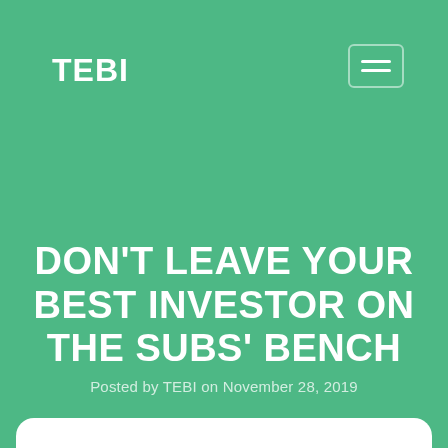TEBI
DON'T LEAVE YOUR BEST INVESTOR ON THE SUBS' BENCH
Posted by TEBI on November 28, 2019